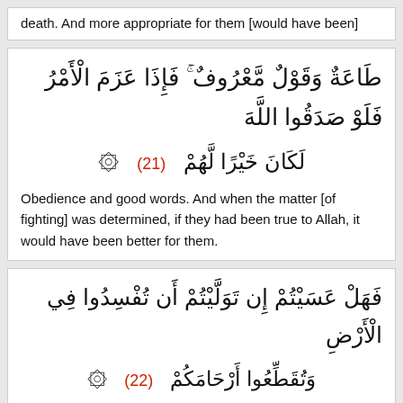death. And more appropriate for them [would have been]
طَاعَةٌ وَقَوْلٌ مَّعْرُوفٌ ۚ فَإِذَا عَزَمَ الْأَمْرُ فَلَوْ صَدَقُوا اللَّهَ لَكَانَ خَيْرًا لَّهُمْ ۞ (21)
Obedience and good words. And when the matter [of fighting] was determined, if they had been true to Allah, it would have been better for them.
فَهَلْ عَسَيْتُمْ إِن تَوَلَّيْتُمْ أَن تُفْسِدُوا فِي الْأَرْضِ وَتُقَطِّعُوا أَرْحَامَكُمْ ۞ (22)
So would you perhaps, if you turned away, cause corruption on earth and sever your [ties of] relationship?